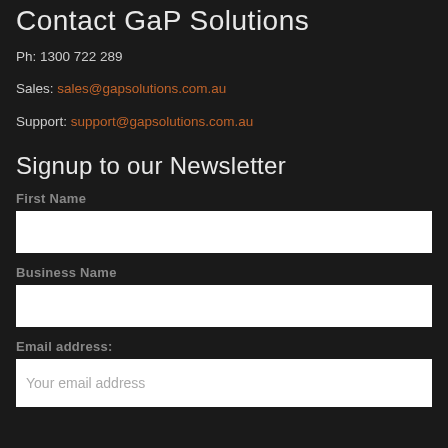Contact GaP Solutions
Ph: 1300 722 289
Sales: sales@gapsolutions.com.au
Support: support@gapsolutions.com.au
Signup to our Newsletter
First Name
Business Name
Email address:
Your email address